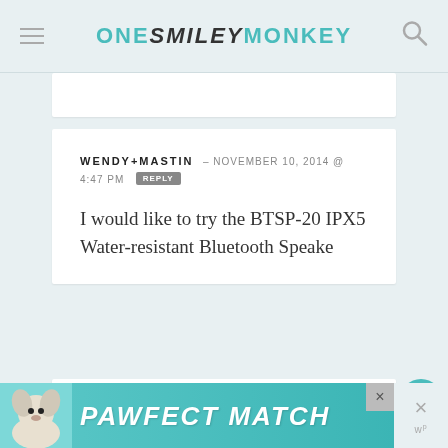ONE SMILEY MONKEY
WENDY+MASTIN – NOVEMBER 10, 2014 @ 4:47 PM REPLY
I would like to try the BTSP-20 IPX5 Water-resistant Bluetooth Speake
JENNY – NOVEMBER 14, 2014 @ 3:10 PM REPLY
I would love to try their 4 Port
[Figure (screenshot): PAWFECT MATCH advertisement banner with a dog image at the bottom of the page]